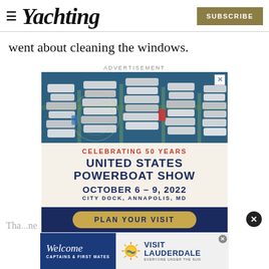≡ Yachting | SUBSCRIBE
went about cleaning the windows.
ADVERTISEMENT
[Figure (photo): Aerial view of a marina packed with boats and yachts at docks, with water surrounding them.]
[Figure (infographic): Advertisement for United States Powerboat Show: CELEBRATING 50 YEARS / UNITED STATES POWERBOAT SHOW / OCTOBER 6 – 9, 2022 / CITY DOCK, ANNAPOLIS, MD / PLAN YOUR VISIT]
[Figure (infographic): Banner advertisement: Welcome CAPTAINS & FIRST MATES | VISIT LAUDERDALE EVERYONE UNDER THE SUN]
Tha... ne